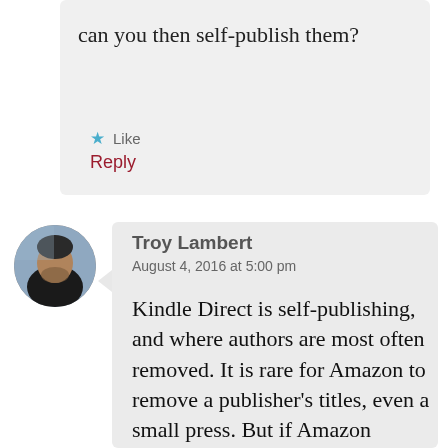can you then self-publish them?
★ Like
Reply
[Figure (photo): Circular avatar photo of Troy Lambert, a man with facial hair wearing a dark shirt, with a building/window background.]
Troy Lambert
August 4, 2016 at 5:00 pm
Kindle Direct is self-publishing, and where authors are most often removed. It is rare for Amazon to remove a publisher's titles, even a small press. But if Amazon removes your book and